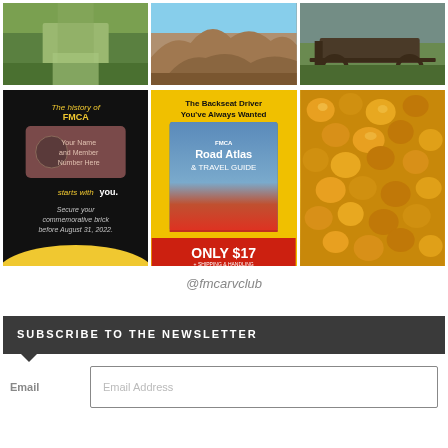[Figure (photo): Top row of 3 Instagram-style photos: green pathway/grass, rock formations/badlands, wagon/farm equipment]
[Figure (photo): Middle row: FMCA history commemorative brick ad (dark background, yellow text), FMCA Road Atlas & Travel Guide book ad (yellow banner, red price bar 'ONLY $17'), golden caramel popcorn close-up]
@fmcarvclub
SUBSCRIBE TO THE NEWSLETTER
Email
Email Address